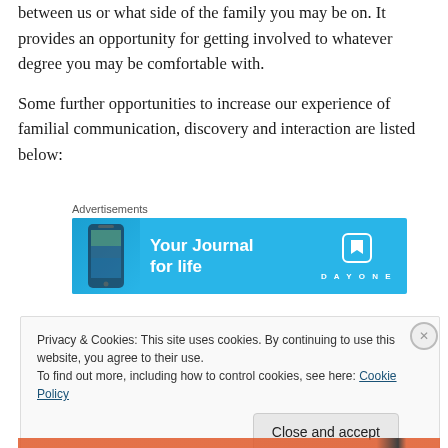between us or what side of the family you may be on. It provides an opportunity for getting involved to whatever degree you may be comfortable with.
Some further opportunities to increase our experience of familial communication, discovery and interaction are listed below:
[Figure (other): Advertisement banner for Day One journal app. Blue background with phone image on left, 'Your Journal for life' text in white, and Day One logo on right.]
Privacy & Cookies: This site uses cookies. By continuing to use this website, you agree to their use.
To find out more, including how to control cookies, see here: Cookie Policy
Close and accept